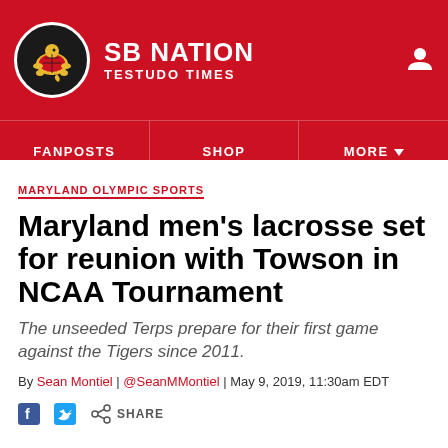SB NATION | TESTUDO TIMES
MARYLAND OLYMPIC SPORTS
Maryland men’s lacrosse set for reunion with Towson in NCAA Tournament
The unseeded Terps prepare for their first game against the Tigers since 2011.
By Sean Montiel | @SeanMMontiel | May 9, 2019, 11:30am EDT